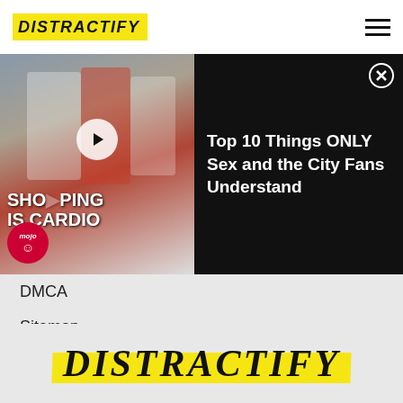DISTRACTIFY
[Figure (screenshot): Video thumbnail showing women shopping with text SHOPPING IS CARDIO, mojo logo, and play button]
Top 10 Things ONLY Sex and the City Fans Understand
DMCA
Sitemap
CONNECT with Distractify
[Figure (infographic): Social media icons: Facebook, Twitter, Instagram, Email]
[Figure (logo): Distractify logo with yellow highlight brush stroke at bottom of page]